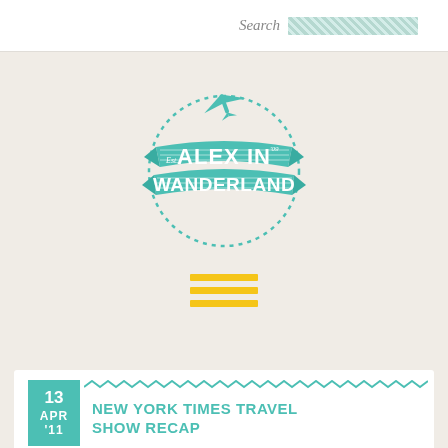Search
[Figure (logo): Alex in Wanderland travel blog logo: teal ribbon banner with airplane silhouette and dotted circle, Est. '09]
[Figure (other): Three horizontal yellow bars forming a hamburger menu icon]
13 APR '11
NEW YORK TIMES TRAVEL SHOW RECAP